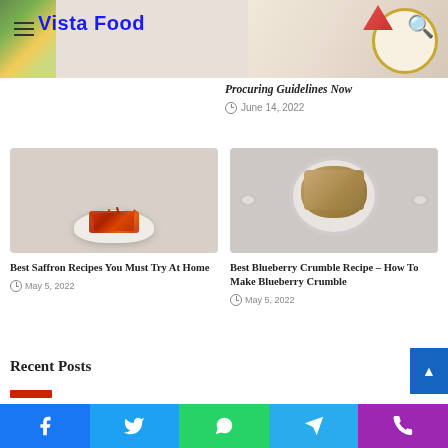Vista Food
Procuring Guidelines Now
June 14, 2022
[Figure (photo): White spoon holding red saffron strands on a light background]
Best Saffron Recipes You Must Try At Home
May 5, 2022
[Figure (photo): Top-down view of blueberry crumble in a white ceramic baking dish]
Best Blueberry Crumble Recipe – How To Make Blueberry Crumble
May 5, 2022
Recent Posts